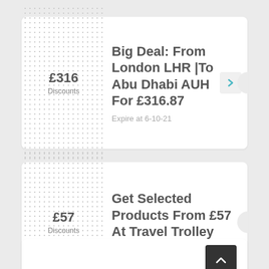£316
Discounts
Big Deal: From London LHR |To Abu Dhabi AUH For £316.87
Expire at 6-10-21
£57
Discounts
Get Selected Products From £57 At Travel Trolley
Expire at 27-5-22